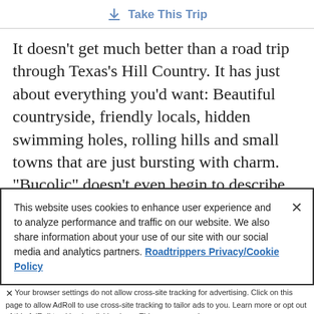Take This Trip
It doesn't get much better than a road trip through Texas's Hill Country. It has just about everything you'd want: Beautiful countryside, friendly locals, hidden swimming holes, rolling hills and small towns that are just bursting with charm. "Bucolic" doesn't even begin to describe Hill Country. One need only stumble upon the tiny hamlet of Luckenbach, outside Fredericksburg, where live music
This website uses cookies to enhance user experience and to analyze performance and traffic on our website. We also share information about your use of our site with our social media and analytics partners. Roadtrippers Privacy/Cookie Policy
Accept and Close
Your browser settings do not allow cross-site tracking for advertising. Click on this page to allow AdRoll to use cross-site tracking to tailor ads to you. Learn more or opt out of this AdRoll tracking by clicking here. This message only appears once.